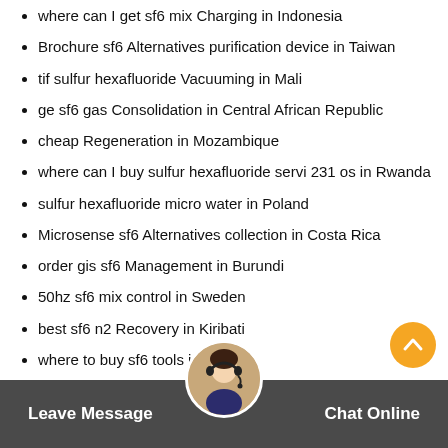where can I get sf6 mix Charging in Indonesia
Brochure sf6 Alternatives purification device in Taiwan
tif sulfur hexafluoride Vacuuming in Mali
ge sf6 gas Consolidation in Central African Republic
cheap Regeneration in Mozambique
where can I buy sulfur hexafluoride servi 231 os in Rwanda
sulfur hexafluoride micro water in Poland
Microsense sf6 Alternatives collection in Costa Rica
order gis sf6 Management in Burundi
50hz sf6 mix control in Sweden
best sf6 n2 Recovery in Kiribati
where to buy sf6 tools in Con...
Advantages of sf6 mixture S... in Burkina Faso...
Leave Message   Chat Online